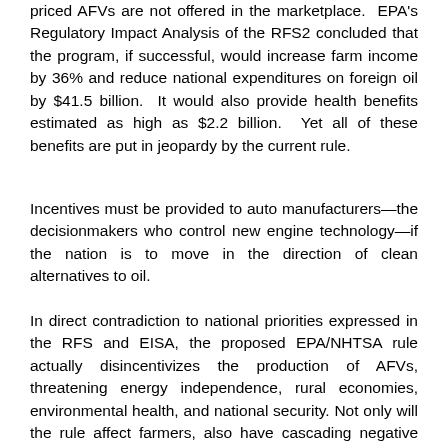priced AFVs are not offered in the marketplace.  EPA's Regulatory Impact Analysis of the RFS2 concluded that the program, if successful, would increase farm income by 36% and reduce national expenditures on foreign oil by $41.5 billion.  It would also provide health benefits estimated as high as $2.2 billion.  Yet all of these benefits are put in jeopardy by the current rule.
Incentives must be provided to auto manufacturers—the decisionmakers who control new engine technology—if the nation is to move in the direction of clean alternatives to oil.
In direct contradiction to national priorities expressed in the RFS and EISA, the proposed EPA/NHTSA rule actually disincentivizes the production of AFVs, threatening energy independence, rural economies, environmental health, and national security. Not only will the rule affect farmers, also have cascading negative economic effects through the entire U.S. economy. Compared to a world with